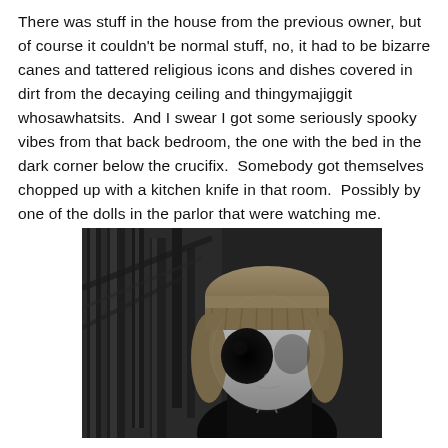There was stuff in the house from the previous owner, but of course it couldn't be normal stuff, no, it had to be bizarre canes and tattered religious icons and dishes covered in dirt from the decaying ceiling and thingymajiggit whosawhatsits.  And I swear I got some seriously spooky vibes from that back bedroom, the one with the bed in the dark corner below the crucifix.  Somebody got themselves chopped up with a kitchen knife in that room.  Possibly by one of the dolls in the parlor that were watching me.
[Figure (photo): Black and white photograph of a creepy doll with black hollow eyes and blonde bangs, photographed outdoors against a background of bare tree trunks.]